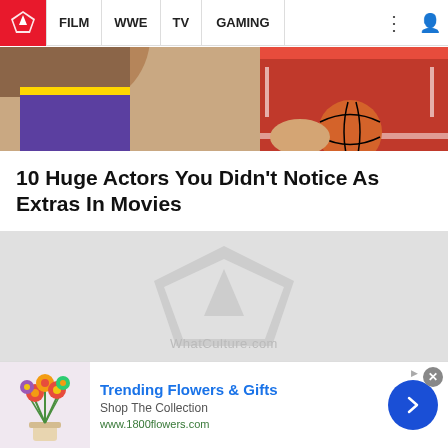FILM  WWE  TV  GAMING
[Figure (photo): Basketball players in red and purple uniforms, cropped close-up showing torsos and a basketball]
10 Huge Actors You Didn't Notice As Extras In Movies
[Figure (logo): WhatCulture.com logo/watermark on grey loading placeholder background]
Trending Flowers & Gifts
Shop The Collection
www.1800flowers.com